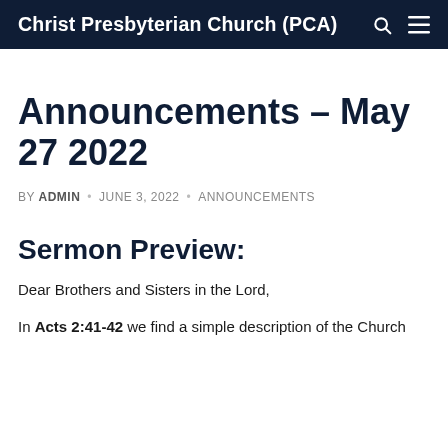Christ Presbyterian Church (PCA)
Announcements – May 27 2022
BY ADMIN · JUNE 3, 2022 · ANNOUNCEMENTS
Sermon Preview:
Dear Brothers and Sisters in the Lord,
In Acts 2:41-42 we find a simple description of the Church